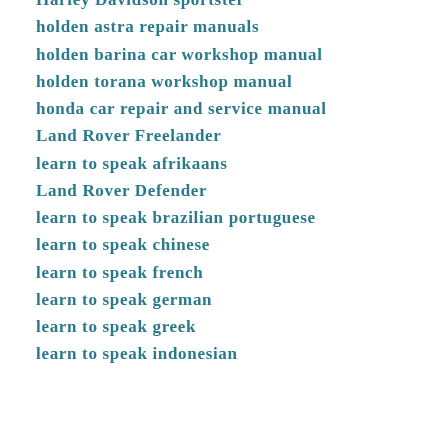Harley Davidson sportster
holden astra repair manuals
holden barina car workshop manual
holden torana workshop manual
honda car repair and service manual
Land Rover Freelander
learn to speak afrikaans
Land Rover Defender
learn to speak brazilian portuguese
learn to speak chinese
learn to speak french
learn to speak german
learn to speak greek
learn to speak indonesian